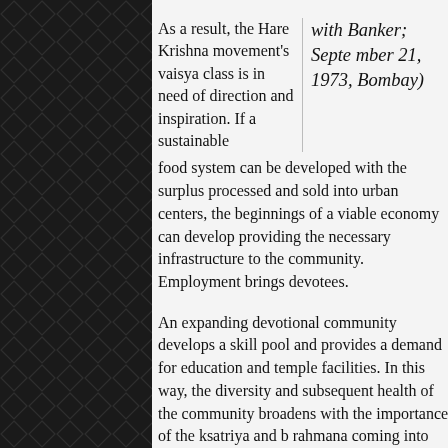As a result, the Hare Krishna movement's vaisya class is in need of direction and inspiration. If a sustainable food system can be developed with the surplus processed and sold into urban centers, the beginnings of a viable economy can develop providing the necessary infrastructure to the community. Employment brings devotees.
with Banker; September 21, 1973, Bombay)
An expanding devotional community develops a skill pool and provides a demand for education and temple facilities. In this way, the diversity and subsequent health of the community broadens with the importance of the ksatriya and b rahmana coming into clear focus. It is important to